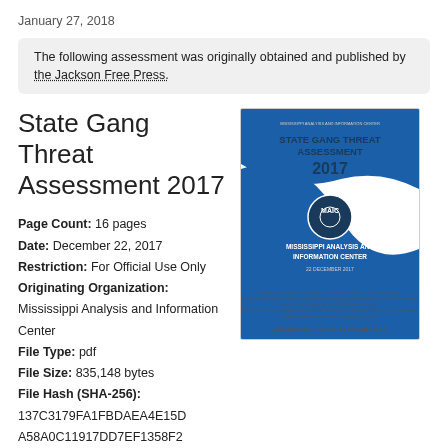January 27, 2018
The following assessment was originally obtained and published by the Jackson Free Press.
State Gang Threat Assessment 2017
Page Count: 16 pages
Date: December 22, 2017
Restriction: For Official Use Only
Originating Organization: Mississippi Analysis and Information Center
File Type: pdf
File Size: 835,148 bytes
File Hash (SHA-256): 137C3179FA1FBDAEA4E15D A58A0C11917DD7EF1358F2
[Figure (illustration): Cover page of the State Gang Threat Assessment 2017 document published by Mississippi Analysis and Information Center, dated 22 December 2017. Blue and white design with MAIC logo.]